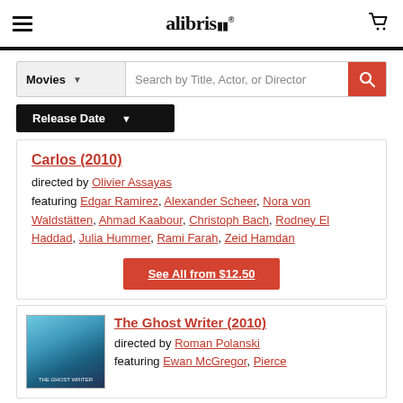alibris
Movies — Search by Title, Actor, or Director
Release Date
Carlos (2010)
directed by Olivier Assayas
featuring Edgar Ramirez, Alexander Scheer, Nora von Waldstätten, Ahmad Kaabour, Christoph Bach, Rodney El Haddad, Julia Hummer, Rami Farah, Zeid Hamdan
See All from $12.50
The Ghost Writer (2010)
directed by Roman Polanski
featuring Ewan McGregor, Pierce